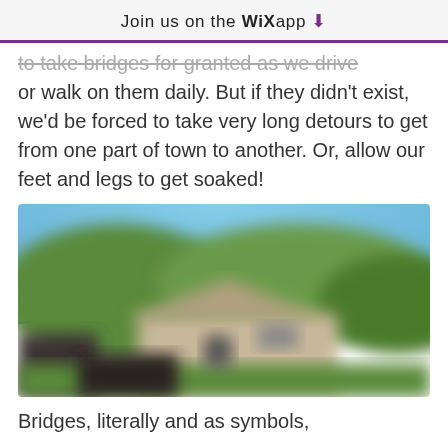Join us on the WiX app ⬇
to take bridges for granted as we drive or walk on them daily. But if they didn't exist, we'd be forced to take very long detours to get from one part of town to another. Or, allow our feet and legs to get soaked!
[Figure (photo): Blurred photograph of a house or building with trees and blue sky in the background]
Bridges, literally and as symbols,